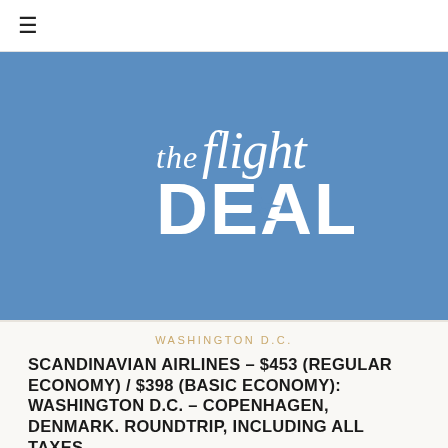≡
[Figure (logo): The Flight Deal logo — stylized white text reading 'the flight DEAL' with an airplane silhouette in the 'A' on a steel blue background]
WASHINGTON D.C.
SCANDINAVIAN AIRLINES – $453 (REGULAR ECONOMY) / $398 (BASIC ECONOMY): WASHINGTON D.C. – COPENHAGEN, DENMARK. ROUNDTRIP, INCLUDING ALL TAXES